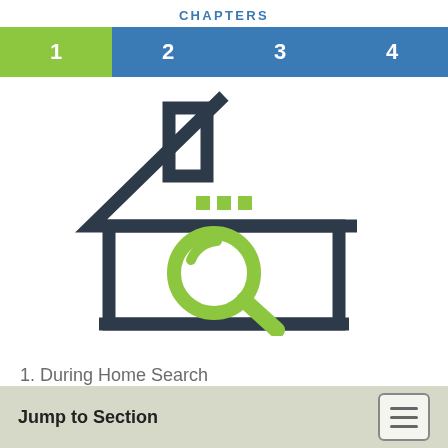CHAPTERS
| 1 | 2 | 3 | 4 |
| --- | --- | --- | --- |
[Figure (illustration): Line-art icon of a house with a chimney and three green dots near the roof peak, and a green magnifying glass in the lower center of the house body.]
1. During Home Search
Jump to Section